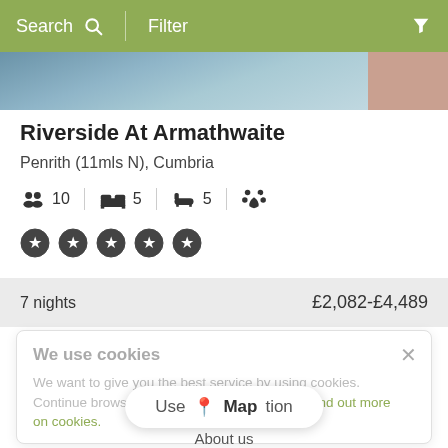Search | Filter
[Figure (photo): Partial aerial/water photo strip at top of listing card]
Riverside At Armathwaite
Penrith (11mls N), Cumbria
10 guests | 5 bedrooms | 5 bathrooms | pets allowed
5 star rating (5 stars shown)
7 nights   £2,082-£4,489
We use cookies
We want to give you the best service by using cookies. Continue browsing if you're happy with this, or find out more on cookies.
Use Location
Map
About us